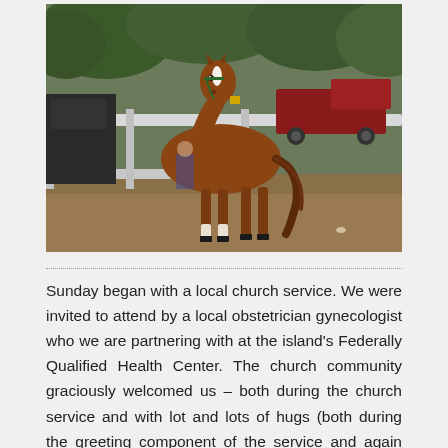[Figure (photo): A chestnut horse with a white blaze standing in a fenced paddock or corral area with dirt ground, white fence rails visible, trees in the background, and a red pickup truck parked behind the fence.]
Sunday began with a local church service. We were invited to attend by a local obstetrician gynecologist who we are partnering with at the island's Federally Qualified Health Center. The church community graciously welcomed us – both during the church service and with lot and lots of hugs (both during the greeting component of the service and again upon our departure). For the rest of the afternoon, we took in the incredible beauty of this